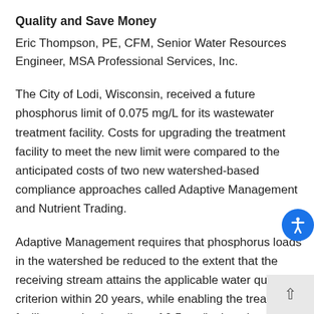Quality and Save Money
Eric Thompson, PE, CFM, Senior Water Resources Engineer, MSA Professional Services, Inc.
The City of Lodi, Wisconsin, received a future phosphorus limit of 0.075 mg/L for its wastewater treatment facility. Costs for upgrading the treatment facility to meet the new limit were compared to the anticipated costs of two new watershed-based compliance approaches called Adaptive Management and Nutrient Trading.
Adaptive Management requires that phosphorus loads in the watershed be reduced to the extent that the receiving stream attains the applicable water quality criterion within 20 years, while enabling the treatment facility to maintain a disc­­ of 0.5 mg/L phosphorus. Nutrient Trading is similar in allows reduction of phosphorus in the watershed. However, it